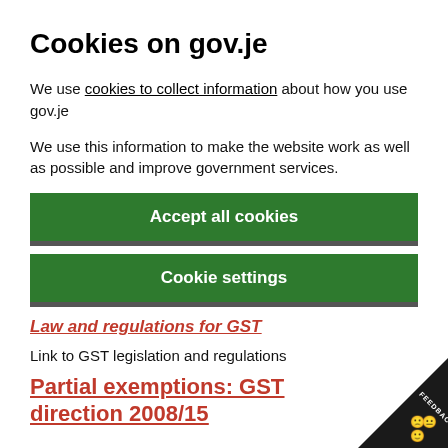Cookies on gov.je
We use cookies to collect information about how you use gov.je
We use this information to make the website work as well as possible and improve government services.
Accept all cookies
Cookie settings
Law and regulations for GST
Link to GST legislation and regulations
Partial exemptions: GST direction 2008/15